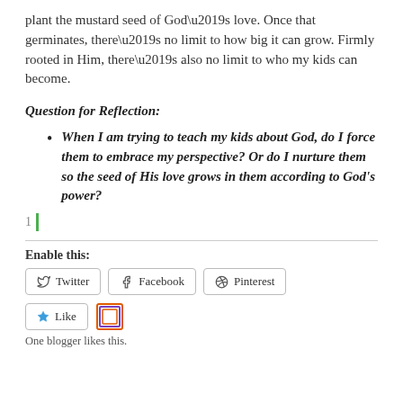plant the mustard seed of God’s love. Once that germinates, there’s no limit to how big it can grow. Firmly rooted in Him, there’s also no limit to who my kids can become.
Question for Reflection:
When I am trying to teach my kids about God, do I force them to embrace my perspective? Or do I nurture them so the seed of His love grows in them according to God’s power?
1
Enable this:
Twitter  Facebook  Pinterest
Like
One blogger likes this.